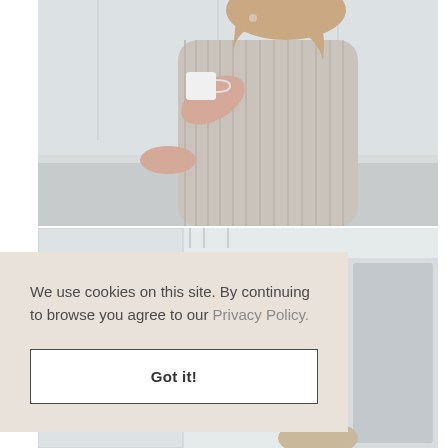[Figure (photo): A woman in a loose striped shirt holding a white mug in a bright white kitchen, photographed from mid-torso up, with a white countertop visible.]
[Figure (photo): A partial kitchen/interior scene visible behind the cookie consent overlay, showing white cabinetry and appliances.]
We use cookies on this site. By continuing to browse you agree to our Privacy Policy.
Got it!